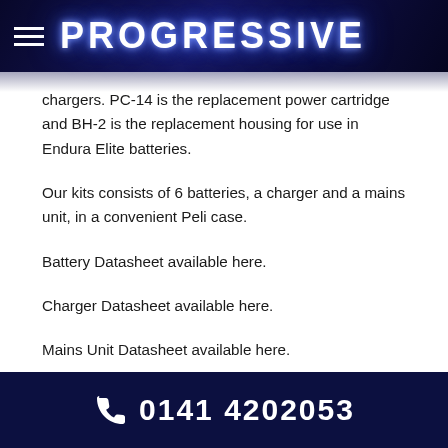PROGRESSIVE
chargers. PC-14 is the replacement power cartridge and BH-2 is the replacement housing for use in Endura Elite batteries.
Our kits consists of 6 batteries, a charger and a mains unit, in a convenient Peli case.
Battery Datasheet available here.
Charger Datasheet available here.
Mains Unit Datasheet available here.
0141 4202053